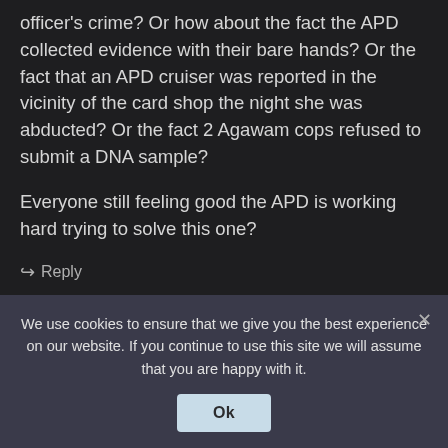officer's crime? Or how about the fact the APD collected evidence with their bare hands? Or the fact that an APD cruiser was reported in the vicinity of the card shop the night she was abducted? Or the fact 2 Agawam cops refused to submit a DNA sample?
Everyone still feeling good the APD is working hard trying to solve this one?
↪ Reply
[Figure (photo): Small user avatar photo showing a woman with long hair at what appears to be a sports event]
We use cookies to ensure that we give you the best experience on our website. If you continue to use this site we will assume that you are happy with it.